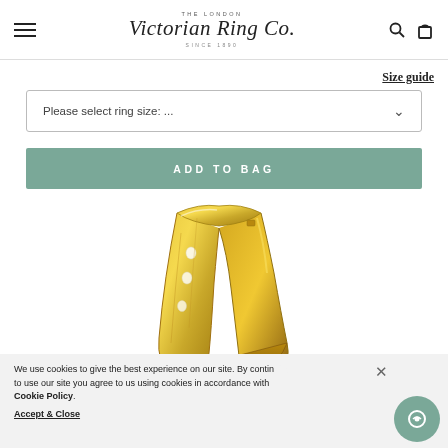The London Victorian Ring Co. Since 1890
Size guide
Please select ring size: ...
ADD TO BAG
[Figure (photo): Gold diamond-set eternity/wedding band ring viewed from an angle showing engraving and diamond settings on yellow gold band]
2.5mm Hand Engraved Yellow Gold...
We use cookies to give the best experience on our site. By continuing to use our site you agree to us using cookies in accordance with Cookie Policy.
Accept & Close